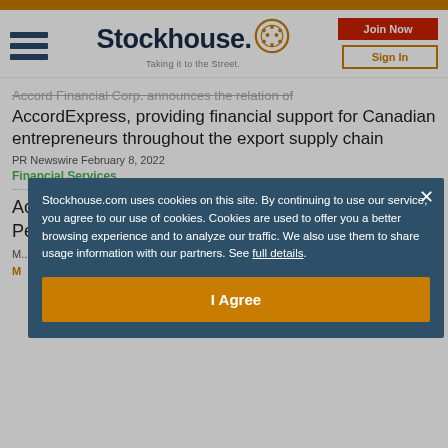Stockhouse - Taking it to the Street.
Accord Financial Corp. announces the relation of AccordExpress, providing financial support for Canadian entrepreneurs throughout the export supply chain
PR Newswire February 8, 2022
Financial Services
Accord Increases Quarterly Dividend to 7.5 Cents Per Common Share
Stockhouse.com uses cookies on this site. By continuing to use our service, you agree to our use of cookies. Cookies are used to offer you a better browsing experience and to analyze our traffic. We also use them to share usage information with our partners. See full details.